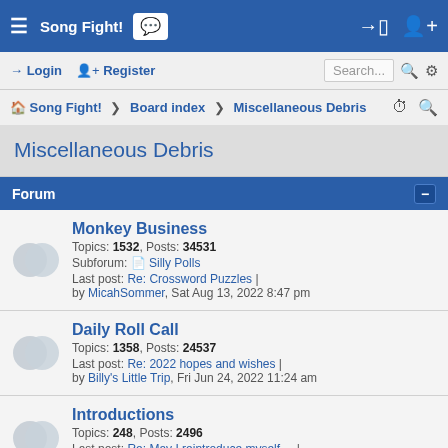Song Fight!
Login  Register  Search...
Song Fight! > Board index > Miscellaneous Debris
Miscellaneous Debris
Forum
Monkey Business
Topics: 1532, Posts: 34531
Subforum: Silly Polls
Last post: Re: Crossword Puzzles | by MicahSommer, Sat Aug 13, 2022 8:47 pm
Daily Roll Call
Topics: 1358, Posts: 24537
Last post: Re: 2022 hopes and wishes | by Billy's Little Trip, Fri Jun 24, 2022 11:24 am
Introductions
Topics: 248, Posts: 2496
Last post: Re: May I reintroduce myself ... | by Niveous, Sat Oct 02, 2021 11:20 pm